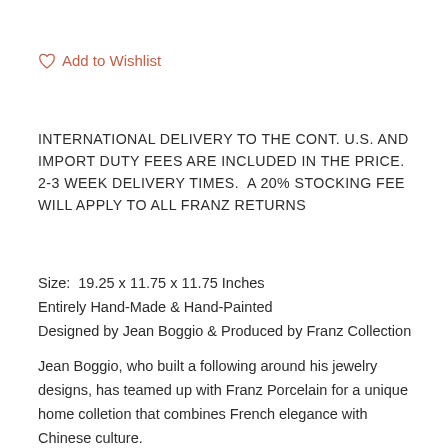♡ Add to Wishlist
INTERNATIONAL DELIVERY TO THE CONT. U.S. AND IMPORT DUTY FEES ARE INCLUDED IN THE PRICE. 2-3 WEEK DELIVERY TIMES. A 20% STOCKING FEE WILL APPLY TO ALL FRANZ RETURNS
Size: 19.25 x 11.75 x 11.75 Inches
Entirely Hand-Made & Hand-Painted
Designed by Jean Boggio & Produced by Franz Collection
Jean Boggio, who built a following around his jewelry designs, has teamed up with Franz Porcelain for a unique home colletion that combines French elegance with Chinese culture.